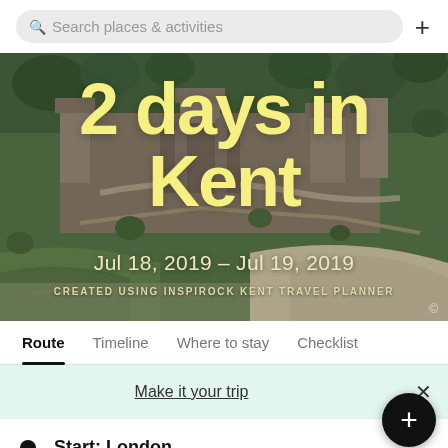Search places & activities
[Figure (photo): Aerial view of a castle (Dover Castle area) in Kent, England, showing stone walls, towers, pathways, green trees and chalk cliffs. Large yellow text overlay reads '2 days in Kent'. Date range 'Jul 18, 2019 - Jul 19, 2019' and credit 'CREATED USING INSPIROCK KENT TRAVEL PLANNER' below.]
2 days in Kent
Jul 18, 2019 – Jul 19, 2019
CREATED USING INSPIROCK KENT TRAVEL PLANNER
Route  Timeline  Where to stay  Checklist
Make it your trip
Start: London